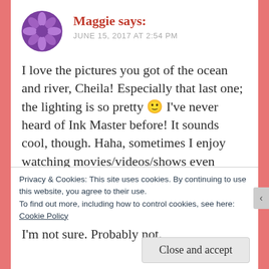Maggie says: JUNE 15, 2017 AT 2:54 PM
I love the pictures you got of the ocean and river, Cheila! Especially that last one; the lighting is so pretty 🙂 I've never heard of Ink Master before! It sounds cool, though. Haha, sometimes I enjoy watching movies/videos/shows even though I'll never get or do the thing they're doing myself, lol! I love how tattoos look on other people, but for me specifically, I'm not sure. Probably not.
Privacy & Cookies: This site uses cookies. By continuing to use this website, you agree to their use.
To find out more, including how to control cookies, see here: Cookie Policy
Close and accept